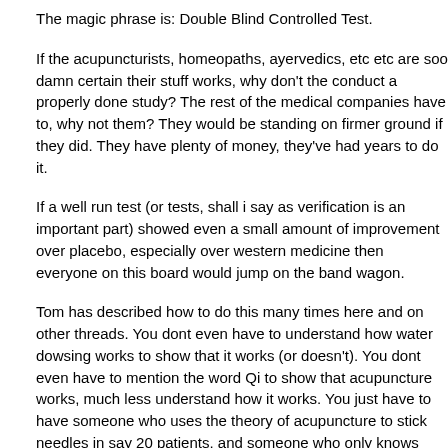The magic phrase is: Double Blind Controlled Test.
If the acupuncturists, homeopaths, ayervedics, etc etc are soo damn certain their stuff works, why don't the conduct a properly done study? The rest of the medical companies have to, why not them? They would be standing on firmer ground if they did. They have plenty of money, they've had years to do it.
If a well run test (or tests, shall i say as verification is an important part) showed even a small amount of improvement over placebo, especially over western medicine then everyone on this board would jump on the band wagon.
Tom has described how to do this many times here and on other threads. You dont even have to understand how water dowsing works to show that it works (or doesn't). You dont even have to mention the word Qi to show that acupuncture works, much less understand how it works. You just have to have someone who uses the theory of acupuncture to stick needles in say 20 patients, and someone who only knows how to stick needles into patients but has no knowledge of qi to stick needles into 20 other patients. The patients should not know which treatment they are getting. Then you need someone who doesnt know which patients got which treatment to evaluate any improvement in whatever symptoms they are trying to address and tally the results.
you should do this for pain, then start again for nausea, then again for depression, then again for diarhea, or whatever you claim it will fix.
I have to give kudos to the Templeton foundation who performed a Prayer...